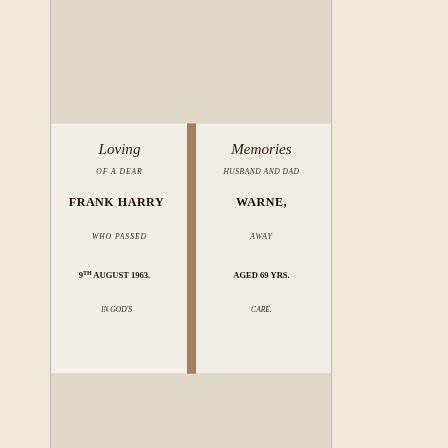[Figure (photo): Gravestone photo: Loving Memories of a dear husband and dad Frank Harry Warne, who passed away 9th August 1963, aged 69 yrs. In God's care.]
[Figure (photo): Gravestone plaque: Fredrick Warne 1855-1932, Charlotte Warne 1855-1935, William Warne 1886-1896.]
598
Warne, Frederick (Andrews) & Willi...
599